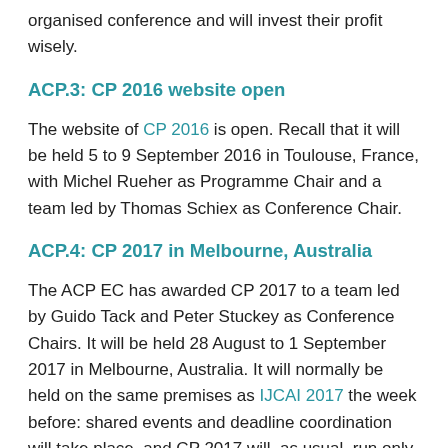organised conference and will invest their profit wisely.
ACP.3: CP 2016 website open
The website of CP 2016 is open. Recall that it will be held 5 to 9 September 2016 in Toulouse, France, with Michel Rueher as Programme Chair and a team led by Thomas Schiex as Conference Chair.
ACP.4: CP 2017 in Melbourne, Australia
The ACP EC has awarded CP 2017 to a team led by Guido Tack and Peter Stuckey as Conference Chairs. It will be held 28 August to 1 September 2017 in Melbourne, Australia. It will normally be held on the same premises as IJCAI 2017 the week before: shared events and deadline coordination will take place, and CP 2017 will, as usual, run only under the auspices of the ACP and have its own proceedings. A Programme Chair will be appointed soon.
ACP.5: ACP Summer School 2015 — something